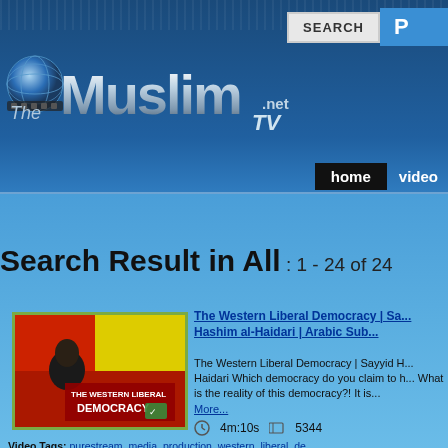[Figure (screenshot): Screenshot of TheMuslim.net TV website showing search results page with logo, navigation, and video listings]
SEARCH | P
The Muslim.net TV
home | video
Search Result in All : 1 - 24 of 24
The Western Liberal Democracy | Sayyid Hashim al-Haidari | Arabic Sub...
The Western Liberal Democracy | Sayyid H... Haidari Which democracy do you claim to h... What is the reality of this democracy?! It is... More...
4m:10s   5344
Video Tags: purestream, media, production, western, liberal, de... alhaidary, hoax, fluff, superpowe, globe, fukuyama, USA, false
Allah Treats You According To How...